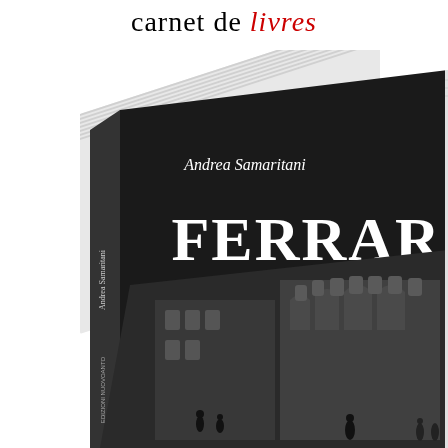carnet de livres
[Figure (photo): A photograph of a book titled 'FERRARA' by Andrea Samaritani, shown at an angle. The book cover is black with large white bold text 'FERRARA' and a black-and-white photograph of a historic Italian cathedral (Ferrara Cathedral) with people in the foreground. The book spine shows the author name and publisher details.]